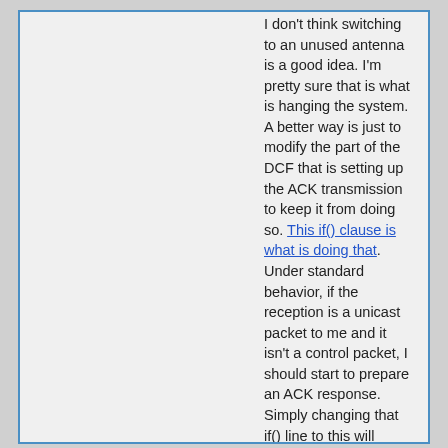I don't think switching to an unused antenna is a good idea. I'm pretty sure that is what is hanging the system. A better way is just to modify the part of the DCF that is setting up the ACK transmission to keep it from doing so. This if() clause is what is doing that. Under standard behavior, if the reception is a unicast packet to me and it isn't a control packet, I should start to prepare an ACK response. Simply changing that if() line to this will disable all ACK transmissions:
[Figure (screenshot): Code box showing: Code: if(0 && unicast_to_]
However, that will disable ACK transmissions permanently for the node. Maybe that's okay if you are fine with STA1 having a normal DCF bitstream and STA2 having this modification to the DCF in its bitstream. Alternatively, you could make that "0" be based on a variable that gets set via an IPC message sent from the High MAC that